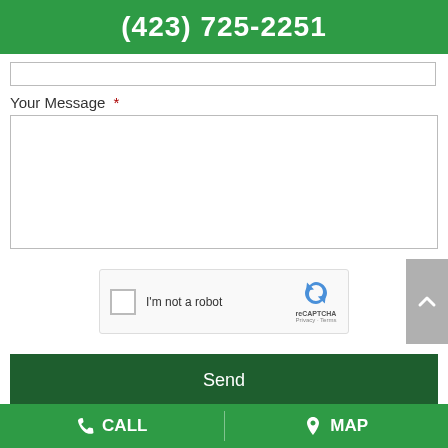(423) 725-2251
[Figure (screenshot): Input text field (partially visible at top)]
Your Message  *
[Figure (screenshot): Large textarea input field for message]
[Figure (screenshot): reCAPTCHA widget with checkbox labeled I'm not a robot]
[Figure (screenshot): Send button, dark green]
About Yard & Nursery Depot
CALL  MAP